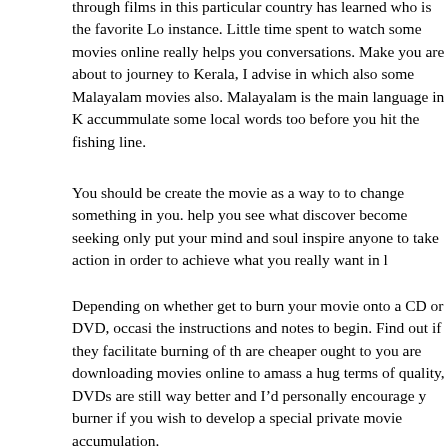through films in this particular country has learned who is the favorite Lo instance. Little time spent to watch some movies online really helps you conversations. Make you are about to journey to Kerala, I advise in which also some Malayalam movies also. Malayalam is the main language in K accummulate some local words too before you hit the fishing line.
You should be create the movie as a way to to change something in you. help you see what discover become seeking only put your mind and soul inspire anyone to take action in order to achieve what you really want in l
Depending on whether get to burn your movie onto a CD or DVD, occasi the instructions and notes to begin. Find out if they facilitate burning of th are cheaper ought to you are downloading movies online to amass a hug terms of quality, DVDs are still way better and I'd personally encourage y burner if you wish to develop a special private movie accumulation.
Then put on weight the cost when comparing movies Capital vs. Netflix w important in my experience as I am on a hard income. To get unlimited do Netflix the cheapest you can get away with is a strategy costing $8.99 pe credit card or checking or savings account automatically. For a few years this similar to electrical of $215.76.